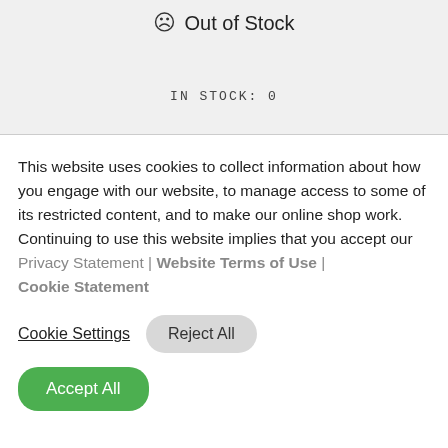Out of Stock
IN STOCK: 0
This website uses cookies to collect information about how you engage with our website, to manage access to some of its restricted content, and to make our online shop work. Continuing to use this website implies that you accept our Privacy Statement | Website Terms of Use | Cookie Statement
Cookie Settings
Reject All
Accept All